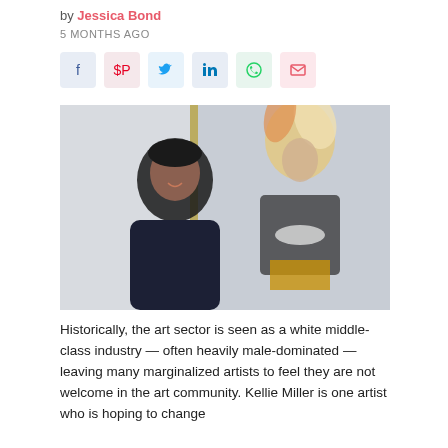by Jessica Bond
5 MONTHS AGO
[Figure (photo): A woman smiling in front of a colorful painting depicting a figure in an elaborate costume with a large feathered hat.]
Historically, the art sector is seen as a white middle-class industry — often heavily male-dominated — leaving many marginalized artists to feel they are not welcome in the art community. Kellie Miller is one artist who is hoping to change